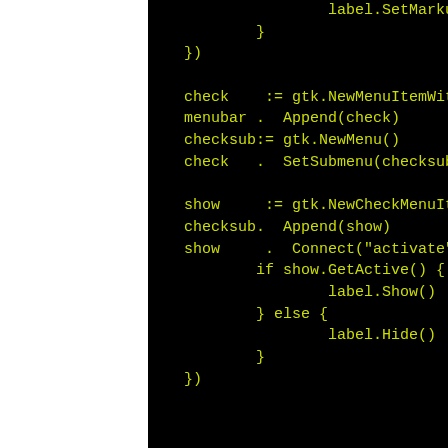[Figure (screenshot): Code snippet in Go language showing GTK menu construction with check menu items, displayed as yellow monospace text on black background.]